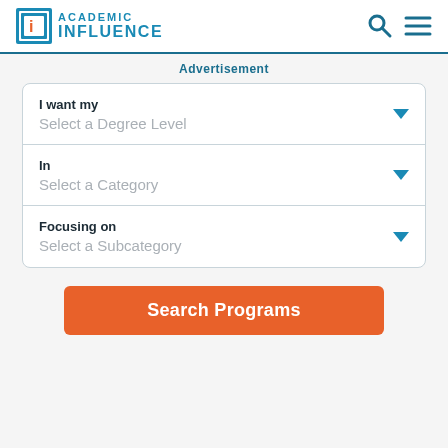Academic Influence
Advertisement
I want my
Select a Degree Level
In
Select a Category
Focusing on
Select a Subcategory
Search Programs